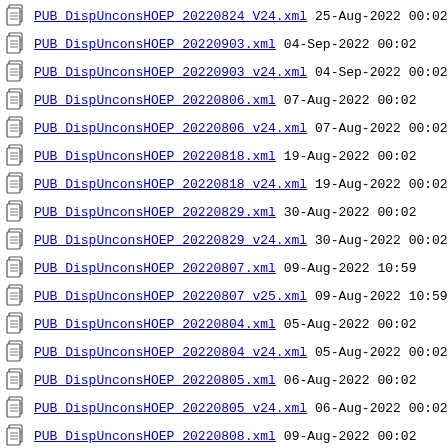PUB_DispUnconsHOEP_20220824_V24.xml  25-Aug-2022 00:02
PUB_DispUnconsHOEP_20220903.xml  04-Sep-2022 00:02
PUB_DispUnconsHOEP_20220903_v24.xml  04-Sep-2022 00:02
PUB_DispUnconsHOEP_20220806.xml  07-Aug-2022 00:02
PUB_DispUnconsHOEP_20220806_v24.xml  07-Aug-2022 00:02
PUB_DispUnconsHOEP_20220818.xml  19-Aug-2022 00:02
PUB_DispUnconsHOEP_20220818_v24.xml  19-Aug-2022 00:02
PUB_DispUnconsHOEP_20220829.xml  30-Aug-2022 00:02
PUB_DispUnconsHOEP_20220829_v24.xml  30-Aug-2022 00:02
PUB_DispUnconsHOEP_20220807.xml  09-Aug-2022 10:59
PUB_DispUnconsHOEP_20220807_v25.xml  09-Aug-2022 10:59
PUB_DispUnconsHOEP_20220804.xml  05-Aug-2022 00:02
PUB_DispUnconsHOEP_20220804_v24.xml  05-Aug-2022 00:02
PUB_DispUnconsHOEP_20220805.xml  06-Aug-2022 00:02
PUB_DispUnconsHOEP_20220805_v24.xml  06-Aug-2022 00:02
PUB_DispUnconsHOEP_20220808.xml  09-Aug-2022 00:02
PUB_DispUnconsHOEP_20220808_v24.xml  09-Aug-2022 00:02